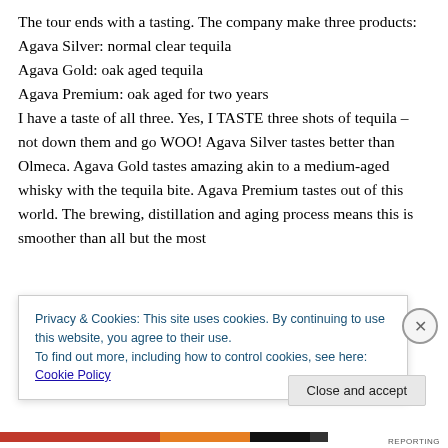The tour ends with a tasting. The company make three products:
Agava Silver: normal clear tequila
Agava Gold: oak aged tequila
Agava Premium: oak aged for two years
I have a taste of all three. Yes, I TASTE three shots of tequila – not down them and go WOO! Agava Silver tastes better than Olmeca. Agava Gold tastes amazing akin to a medium-aged whisky with the tequila bite. Agava Premium tastes out of this world. The brewing, distillation and aging process means this is smoother than all but the most
Privacy & Cookies: This site uses cookies. By continuing to use this website, you agree to their use.
To find out more, including how to control cookies, see here: Cookie Policy